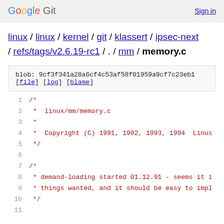Google Git  Sign in
linux / linux / kernel / git / klassert / ipsec-next / refs/tags/v2.6.19-rc1 / . / mm / memory.c
blob: 9cf3f341a28a6cf4c53af58f01959a9cf7c23eb1
[file] [log] [blame]
1  /*
2   *  linux/mm/memory.c
3   *
4   *  Copyright (C) 1991, 1992, 1993, 1994  Linus
5   */
6
7  /*
8   * demand-loading started 01.12.91 - seems it i
9   * things wanted, and it should be easy to impl
10  */
11